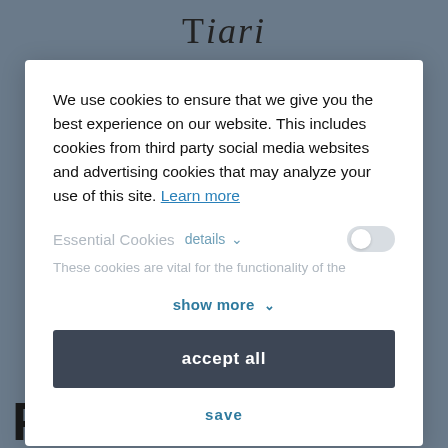[Figure (screenshot): Website background showing partial logo text and dark blue bottom text 'Processors']
We use cookies to ensure that we give you the best experience on our website. This includes cookies from third party social media websites and advertising cookies that may analyze your use of this site. Learn more
Essential Cookies  details ∨
These cookies are vital for the functionality of the
show more ∨
accept all
save